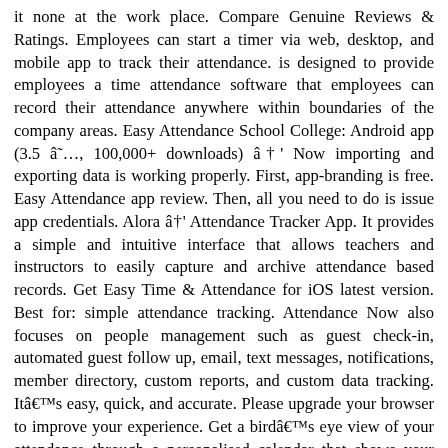it none at the work place. Compare Genuine Reviews & Ratings. Employees can start a timer via web, desktop, and mobile app to track their attendance. is designed to provide employees a time attendance software that employees can record their attendance anywhere within boundaries of the company areas. Easy Attendance School College: Android app (3.5 â˜…, 100,000+ downloads) â†' Now importing and exporting data is working properly. First, app-branding is free. Easy Attendance app review. Then, all you need to do is issue app credentials. Alora â†' Attendance Tracker App. It provides a simple and intuitive interface that allows teachers and instructors to easily capture and archive attendance based records. Get Easy Time & Attendance for iOS latest version. Best for: simple attendance tracking. Attendance Now also focuses on people management such as guest check-in, automated guest follow up, email, text messages, notifications, member directory, custom reports, and custom data tracking. Itâ€™s easy, quick, and accurate. Please upgrade your browser to improve your experience. Get a birdâ€™s eye view of your attendance through a personalised calendar that shows your attendance for a given month at a time. Check how much you can save with time and attendance app. Easy Attendance is a powerful and portable way to gather and record student attendance. EasyWork is a complete company & HR system mobile app with an employee attendance system, resource booking, reward system and more. Smartphone and tablet apps Simple, low-cost attendance recording with QR codes and more. Register a new team. 09 Apr